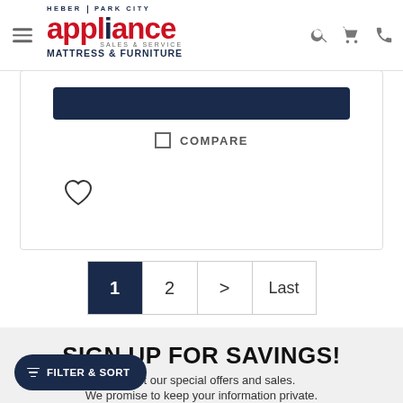[Figure (logo): Heber Park City Appliance Sales & Service Mattress & Furniture logo with red and navy text]
[Figure (other): Dark navy add-to-cart button at top of product card]
COMPARE
[Figure (other): Heart/wishlist icon]
[Figure (other): Pagination control with pages 1, 2, >, Last]
SIGN UP FOR SAVINGS!
n about our special offers and sales.
We promise to keep your information private.
FILTER & SORT